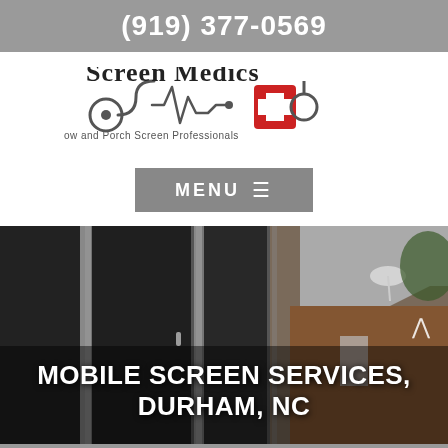(919) 377-0569
[Figure (logo): Screen Medics logo with stethoscope, heartbeat line, and red medical cross. Tagline: Window and Porch Screen Professionals]
MENU ☰
[Figure (photo): Dark semi-transparent window screens on a house exterior with brick and satellite dish visible in background]
MOBILE SCREEN SERVICES, DURHAM, NC
HOURS   MAP